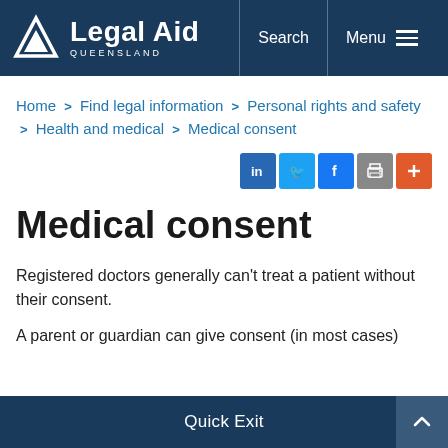[Figure (logo): Legal Aid Queensland logo with triangle/mountain icon and text 'Legal Aid QUEENSLAND' on dark navy background header, with Search and Menu navigation items]
Home > Find legal information > Personal rights and safety > Health and medical > Medical consent
[Figure (other): Social sharing buttons: LinkedIn (blue), Twitter (light blue), Facebook (blue), Print (grey), More/Plus (orange-red)]
Medical consent
Registered doctors generally can't treat a patient without their consent.
A parent or guardian can give consent (in most cases)
Quick Exit